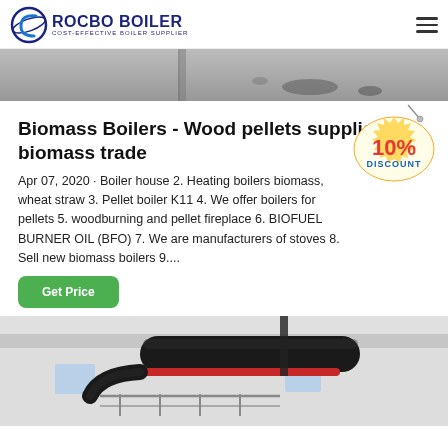ROCBO BOILER - COST-EFFECTIVE BOILER SUPPLIER
[Figure (photo): Top partial image of a surface, grayscale, possibly a floor or ceiling]
Biomass Boilers - Wood pellets suppliers biomass trade
Apr 07, 2020 · Boiler house 2. Heating boilers biomass, wheat straw 3. Pellet boiler K11 4. We offer boilers for pellets 5. woodburning and pellet fireplace 6. BIOFUEL BURNER OIL (BFO) 7. We are manufacturers of stoves 8. Sell new biomass boilers 9....
[Figure (infographic): 10% DISCOUNT badge/sticker in red and yellow]
[Figure (photo): Interior industrial space with dark pipes on ceiling, white walls, windows, and metal railings]